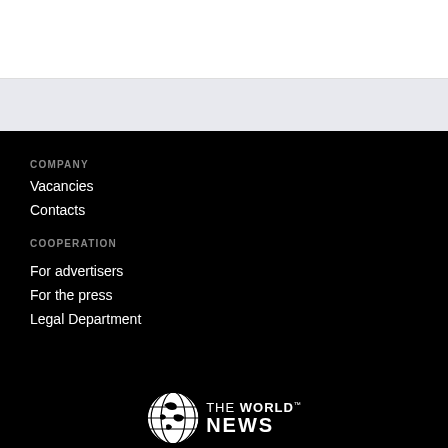COMPANY
Vacancies
Contacts
COOPERATION
For advertisers
For the press
Legal Department
[Figure (logo): The World News logo with globe icon, text 'THE WORLD NEWS' in white on black background]